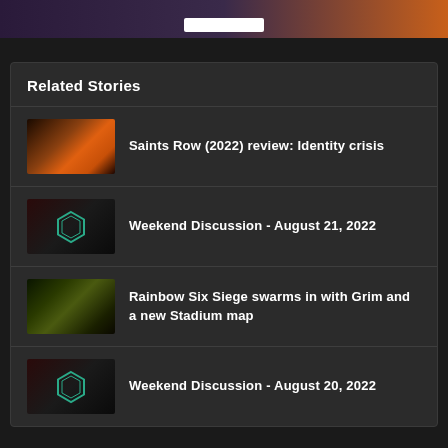[Figure (screenshot): Top banner image showing dark purple and orange/fire color gradient with a white button element]
Related Stories
Saints Row (2022) review: Identity crisis
Weekend Discussion - August 21, 2022
Rainbow Six Siege swarms in with Grim and a new Stadium map
Weekend Discussion - August 20, 2022